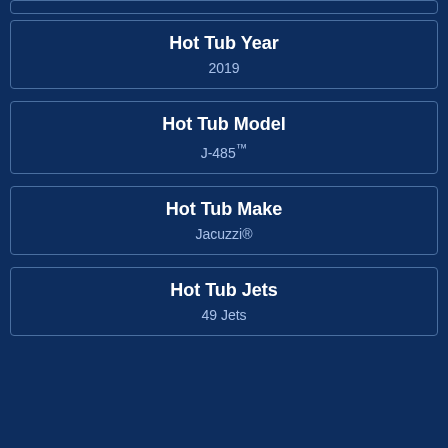| Hot Tub Year | 2019 |
| Hot Tub Model | J-485™ |
| Hot Tub Make | Jacuzzi® |
| Hot Tub Jets | 49 Jets |